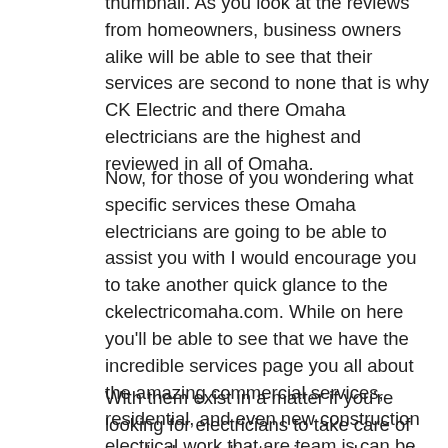thumbnail. As you look at the reviews from homeowners, business owners alike will be able to see that their services are second to none that is why CK Electric and there Omaha electricians are the highest and reviewed in all of Omaha.
Now, for those of you wondering what specific services these Omaha electricians are going to be able to assist you with I would encourage you to take another quick glance to the ckelectricomaha.com. While on here you'll be able to see that we have the incredible services page you all about the amazing commercial services, residential, and even new construction electrical work that are team is can be able to take taking care of for you.
With them exist in a matter if you're looking for electricians to take care of your bathroom lighting in your home, to install a new part fan in your bathroom at your work, or perhaps your building a new and